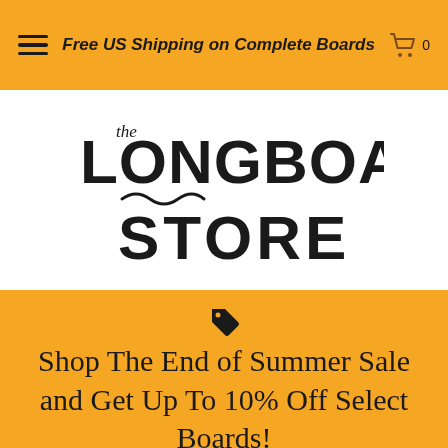Free US Shipping on Complete Boards
[Figure (logo): The Longboard Store logo with stylized text and wave decoration]
Shop The End of Summer Sale and Get Up To 10% Off Select Boards!
$8.00   $8.00
[Figure (screenshot): Bottom section showing partial board images, email button, and McAfee CERTIFIED SECURE badge]